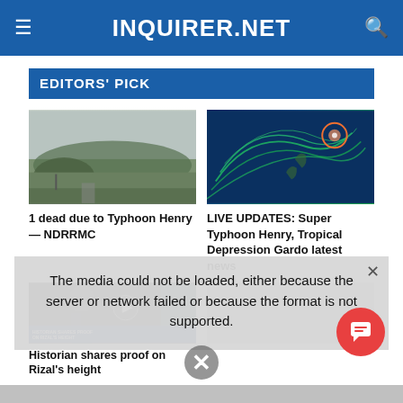INQUIRER.NET
EDITORS' PICK
[Figure (photo): Dark cloudy sky over mountains and greenery — typhoon weather scene]
1 dead due to Typhoon Henry — NDRRMC
[Figure (photo): Satellite weather map showing a typhoon spiral with green wind flow lines over the Philippine archipelago]
LIVE UPDATES: Super Typhoon Henry, Tropical Depression Gardo latest news
[Figure (screenshot): Video thumbnail of a man in a dark jacket with lower-third text overlay: HISTORIAN SHARES PROOF ON RIZAL'S HEIGHT]
Historian shares proof on Rizal's height
The media could not be loaded, either because the server or network failed or because the format is not supported.